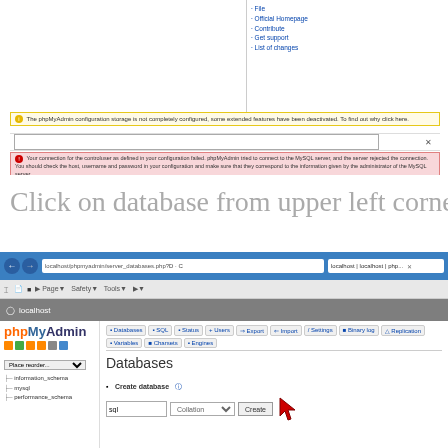[Figure (screenshot): phpMyAdmin configuration screenshot showing info bar, input field, and red error message about MySQL connection]
Click on database from upper left corner
[Figure (screenshot): phpMyAdmin Databases page screenshot showing browser chrome, navigation tabs, database list on left, and Create database form with input, Collation dropdown, and Create button with red arrow cursor]